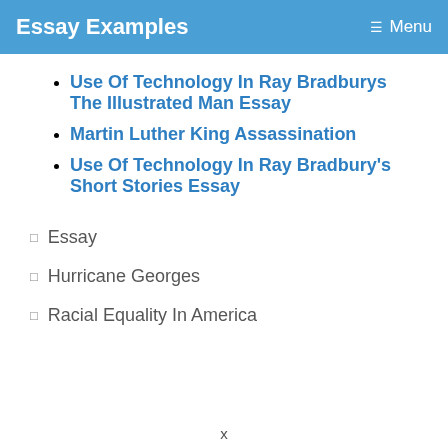Essay Examples   Menu
Use Of Technology In Ray Bradburys The Illustrated Man Essay
Martin Luther King Assassination
Use Of Technology In Ray Bradbury's Short Stories Essay
Essay
Hurricane Georges
Racial Equality In America